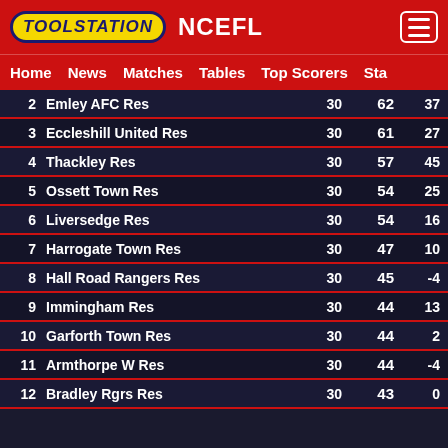TOOLSTATION NCEFL
Home | News | Matches | Tables | Top Scorers | Sta
| # | Team | P | Pts | GD |
| --- | --- | --- | --- | --- |
| 2 | Emley AFC Res | 30 | 62 | 37 |
| 3 | Eccleshill United Res | 30 | 61 | 27 |
| 4 | Thackley Res | 30 | 57 | 45 |
| 5 | Ossett Town Res | 30 | 54 | 25 |
| 6 | Liversedge Res | 30 | 54 | 16 |
| 7 | Harrogate Town Res | 30 | 47 | 10 |
| 8 | Hall Road Rangers Res | 30 | 45 | -4 |
| 9 | Immingham Res | 30 | 44 | 13 |
| 10 | Garforth Town Res | 30 | 44 | 2 |
| 11 | Armthorpe W Res | 30 | 44 | -4 |
| 12 | Bradley Rgrs Res | 30 | 43 | 0 |